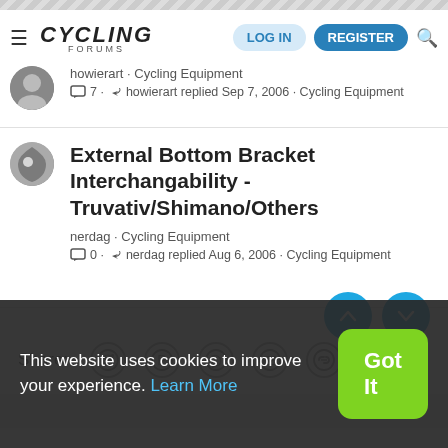CYCLING FORUMS — LOG IN | REGISTER
howierart · Cycling Equipment
□7 · ↩ howierart replied Sep 7, 2006 · Cycling Equipment
External Bottom Bracket Interchangability - Truvativ/Shimano/Others
nerdag · Cycling Equipment
□0 · ↩ nerdag replied Aug 6, 2006 · Cycling Equipment
Share:
This website uses cookies to improve your experience. Learn More